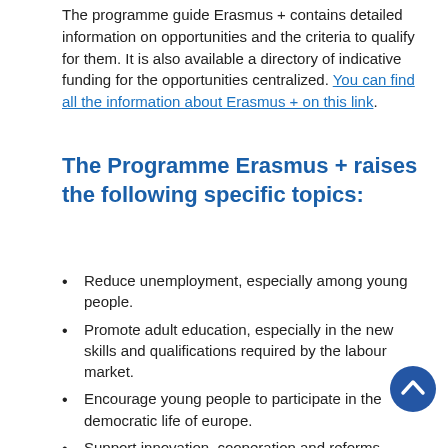The programme guide Erasmus + contains detailed information on opportunities and the criteria to qualify for them. It is also available a directory of indicative funding for the opportunities centralized. You can find all the information about Erasmus + on this link.
The Programme Erasmus + raises the following specific topics:
Reduce unemployment, especially among young people.
Promote adult education, especially in the new skills and qualifications required by the labour market.
Encourage young people to participate in the democratic life of europe.
Support innovation, cooperation and reforms.
Reducing dropout.
Promote cooperation and mobility with partner countries of the HAT.